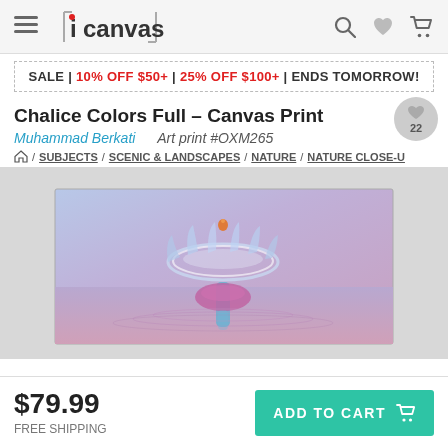iCanvas
SALE | 10% OFF $50+ | 25% OFF $100+ | ENDS TOMORROW!
Chalice Colors Full – Canvas Print
Muhammad Berkati    Art print #OXM265
/ SUBJECTS / SCENIC & LANDSCAPES / NATURE / NATURE CLOSE-U
[Figure (photo): A high-speed water droplet splash photo on canvas, showing a crown-shaped water formation in purple, blue and pink tones against a gradient lavender/purple background. A small orange bead sits atop the liquid column.]
$79.99
FREE SHIPPING
ADD TO CART